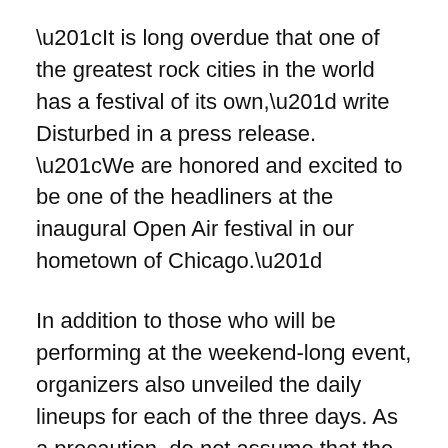“It is long overdue that one of the greatest rock cities in the world has a festival of its own,” write Disturbed in a press release. “We are honored and excited to be one of the headliners at the inaugural Open Air festival in our hometown of Chicago.”
In addition to those who will be performing at the weekend-long event, organizers also unveiled the daily lineups for each of the three days. As a precaution, do not assume that the order of the daily lineup is when each band is actually scheduled to perform. According to the festival’s website, the official performance times will be announced two weeks before the festival kicks off. Until then, check out the